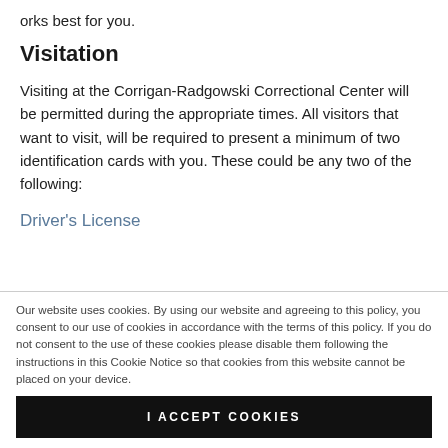orks best for you.
Visitation
Visiting at the Corrigan-Radgowski Correctional Center will be permitted during the appropriate times. All visitors that want to visit, will be required to present a minimum of two identification cards with you. These could be any two of the following:
Driver's License
Our website uses cookies. By using our website and agreeing to this policy, you consent to our use of cookies in accordance with the terms of this policy. If you do not consent to the use of these cookies please disable them following the instructions in this Cookie Notice so that cookies from this website cannot be placed on your device.
I ACCEPT COOKIES